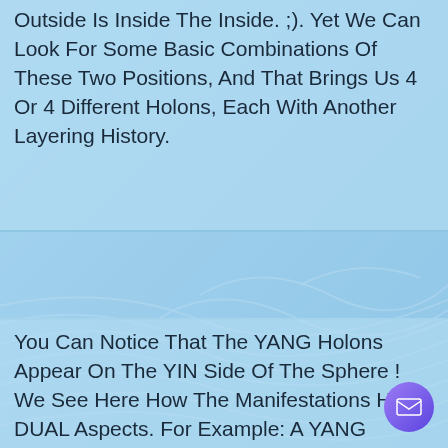Outside Is Inside The Inside. ;). Yet We Can Look For Some Basic Combinations Of These Two Positions, And That Brings Us 4 Or 4 Different Holons, Each With Another Layering History.
You Can Notice That The YANG Holons Appear On The YIN Side Of The Sphere ! We See Here How The Manifestations Have DUAL Aspects. For Example: A YANG Person (Shorter Length Like Women) Have A More YIN Spirit (E.G. Will Talk More).I Used A Double Layer For The ‘Old’ Yin And Yang, And You See That The Two Coupling Peaks Are Empty (Not Pushed By Another Peak). For The ‘Young’ Yin And Yang I Used A Simple Deformation Of The Membrane Provoked By A Contacting Membrane Peak (Oscillation). Both Old And Young